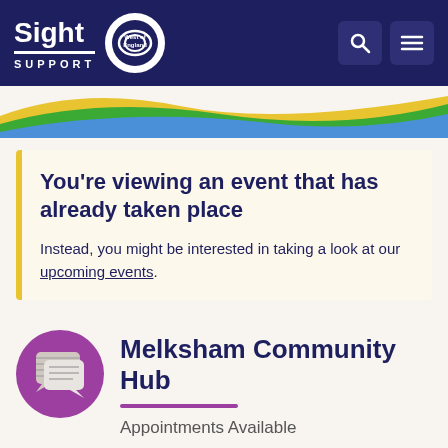[Figure (logo): Sight Support West of England logo with circular emblem on dark navy header bar]
[Figure (illustration): Decorative ribbon in yellow, green, and blue wave shapes below the header]
You're viewing an event that has already taken place
Instead, you might be interested in taking a look at our upcoming events.
Melksham Community Hub
Appointments Available